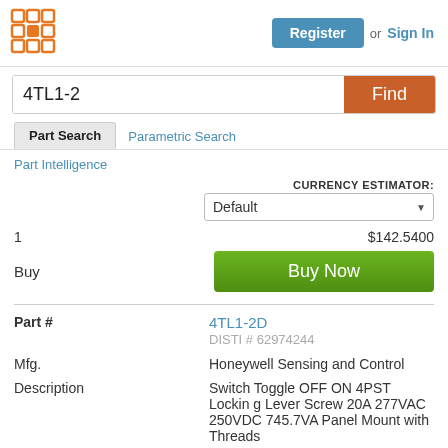[Figure (logo): Orange grid/matrix logo icon]
Register or Sign In
4TL1-2
Find
Part Search
Parametric Search
Part Intelligence
CURRENCY ESTIMATOR: Default
1  $142.5400
Buy  Buy Now
Part #  4TL1-2D
DISTI # 62974244
Mfg.  Honeywell Sensing and Control
Description  Switch Toggle OFF ON 4PST Locking Lever Screw 20A 277VAC 250VDC 745.7VA Panel Mount with Threads